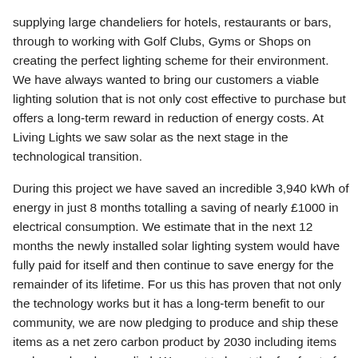supplying large chandeliers for hotels, restaurants or bars, through to working with Golf Clubs, Gyms or Shops on creating the perfect lighting scheme for their environment. We have always wanted to bring our customers a viable lighting solution that is not only cost effective to purchase but offers a long-term reward in reduction of energy costs. At Living Lights we saw solar as the next stage in the technological transition.
During this project we have saved an incredible 3,940 kWh of energy in just 8 months totalling a saving of nearly £1000 in electrical consumption. We estimate that in the next 12 months the newly installed solar lighting system would have fully paid for itself and then continue to save energy for the remainder of its lifetime. For us this has proven that not only the technology works but it has a long-term benefit to our community, we are now pledging to produce and ship these items as a net zero carbon product by 2030 including items we have already supplied. We want to be at the forefront of showcasing how